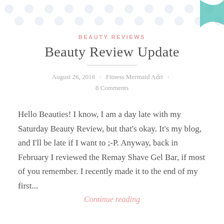[Figure (illustration): Top decorative banner with light gray polka dot pattern on white background, with a teal/green decorative element at the top right]
BEAUTY REVIEWS
Beauty Review Update
August 26, 2018 · Fitness Mermaid Adri · 8 Comments
Hello Beauties! I know, I am a day late with my Saturday Beauty Review, but that's okay. It's my blog, and I'll be late if I want to ;-P. Anyway, back in February I reviewed the Remay Shave Gel Bar, if most of you remember. I recently made it to the end of my first...
Continue reading